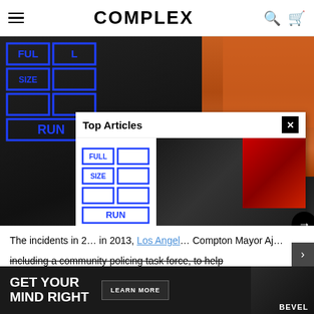COMPLEX
[Figure (screenshot): Complex website screenshot showing a man in a black hoodie in a sneaker store with orange sneaker boxes, Full Size Run logo overlay on left, and a 'Top Articles' popup showing Joey Badass article with Full Size Run branding]
Joey Badass Resold Sneakers toLaunch His RapCareer | FullSize Run
The incidents in 2... in 2013, Los Angel... Compton Mayor Aj... including a community policing task force, to help comb...
[Figure (photo): Advertisement banner: GET YOUR MIND RIGHT with LEARN MORE button and BEVEL branding]